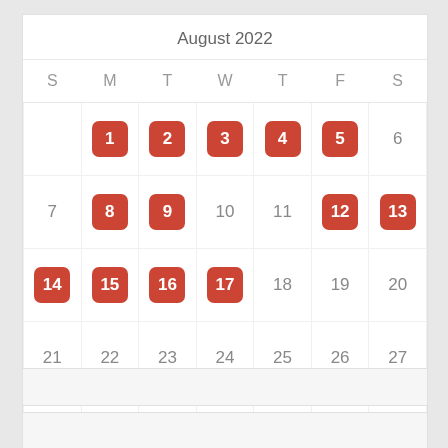August 2022
| S | M | T | W | T | F | S |
| --- | --- | --- | --- | --- | --- | --- |
|  | 1 | 2 | 3 | 4 | 5 | 6 |
| 7 | 8 | 9 | 10 | 11 | 12 | 13 |
| 14 | 15 | 16 | 17 | 18 | 19 | 20 |
| 21 | 22 | 23 | 24 | 25 | 26 | 27 |
| 28 | 29 | 30 | 31 |  |  |  |
« Jul